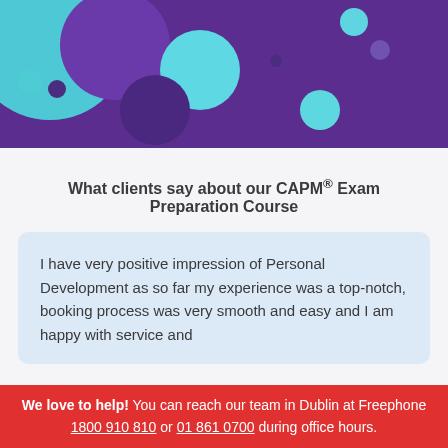[Figure (illustration): Decorative purple background with teal and dark circles of various sizes arranged as a hero banner graphic.]
What clients say about our CAPM® Exam Preparation Course
I have very positive impression of Personal Development as so far my experience was a top-notch, booking process was very smooth and easy and I am happy with service and
We love to help! You can reach our team in Dublin at Freephone 1800 910 810 or 01 861 0700 during office hours.